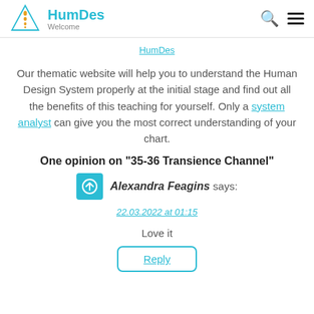HumDes Welcome
HumDes
Our thematic website will help you to understand the Human Design System properly at the initial stage and find out all the benefits of this teaching for yourself. Only a system analyst can give you the most correct understanding of your chart.
One opinion on “35-36 Transience Channel”
Alexandra Feagins says:
22.03.2022 at 01:15
Love it
Reply